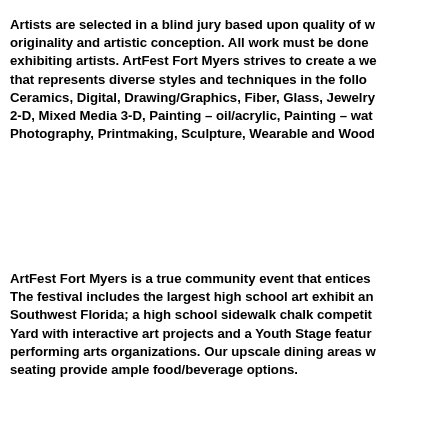Artists are selected in a blind jury based upon quality of w originality and artistic conception. All work must be done exhibiting artists. ArtFest Fort Myers strives to create a we that represents diverse styles and techniques in the follo Ceramics, Digital, Drawing/Graphics, Fiber, Glass, Jewelry 2-D, Mixed Media 3-D, Painting – oil/acrylic, Painting – wat Photography, Printmaking, Sculpture, Wearable and Wood
ArtFest Fort Myers is a true community event that entices The festival includes the largest high school art exhibit an Southwest Florida; a high school sidewalk chalk competit Yard with interactive art projects and a Youth Stage featur performing arts organizations. Our upscale dining areas w seating provide ample food/beverage options.